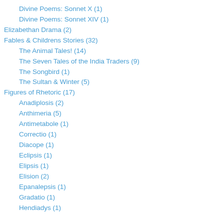Divine Poems: Sonnet X (1)
Divine Poems: Sonnet XIV (1)
Elizabethan Drama (2)
Fables & Childrens Stories (32)
The Animal Tales! (14)
The Seven Tales of the India Traders (9)
The Songbird (1)
The Sultan & Winter (5)
Figures of Rhetoric (17)
Anadiplosis (2)
Anthimeria (5)
Antimetabole (1)
Correctio (1)
Diacope (1)
Eclipsis (1)
Elipsis (1)
Elision (2)
Epanalepsis (1)
Gradatio (1)
Hendiadys (1)